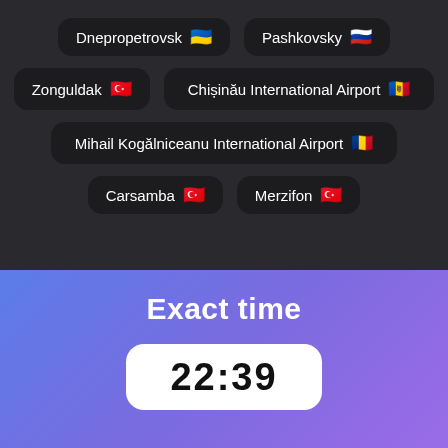Dnepropetrovsk 🇺🇦
Pashkovsky 🇷🇺
Zonguldak 🇹🇷
Chișinău International Airport 🇲🇩
Mihail Kogălniceanu International Airport 🇷🇴
Carsamba 🇹🇷
Merzifon 🇹🇷
Exact time
22:39